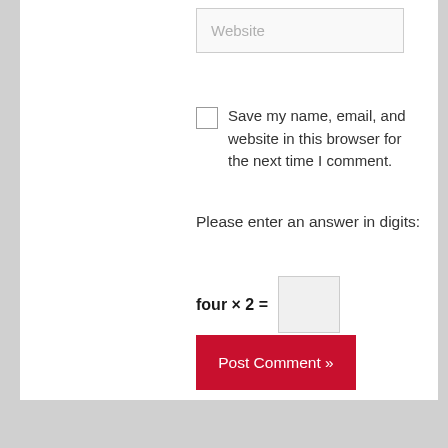Website
Save my name, email, and website in this browser for the next time I comment.
Please enter an answer in digits:
Post Comment »